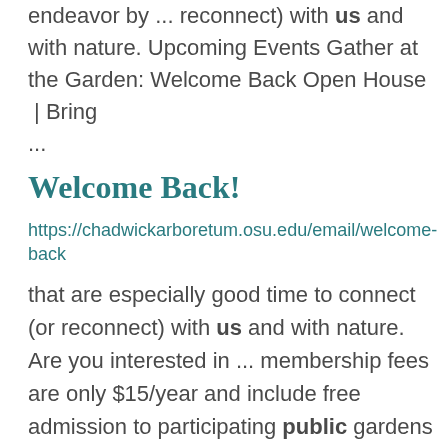endeavor by ... reconnect) with us and with nature. Upcoming Events Gather at the Garden: Welcome Back Open House | Bring ...
Welcome Back!
https://chadwickarboretum.osu.edu/email/welcome-back
that are especially good time to connect (or reconnect) with us and with nature. Are you interested in ... membership fees are only $15/year and include free admission to participating public gardens across the ... ever found that the more you learn about a subject, the more fascinating it becomes?